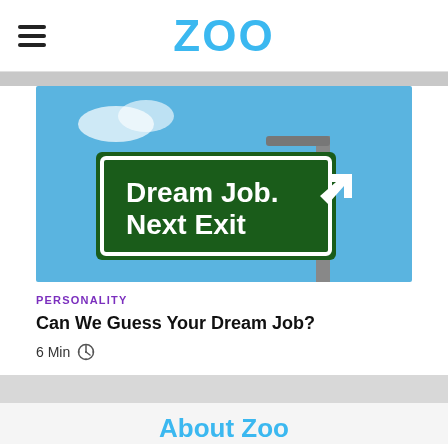ZOO
[Figure (photo): Green road sign reading 'Dream Job. Next Exit' with an arrow, against a blue sky background.]
PERSONALITY
Can We Guess Your Dream Job?
6 Min
About Zoo
Our goal at Zoo.com is to keep you entertained in this crazy life and li...